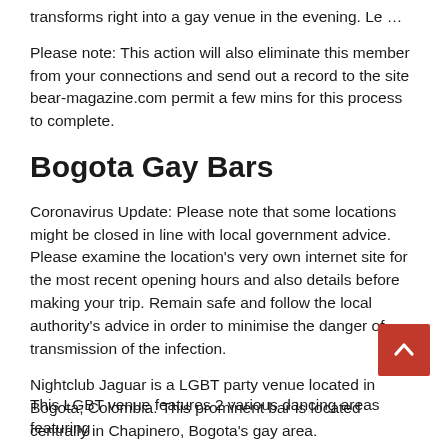transforms right into a gay venue in the evening. Le …
Please note: This action will also eliminate this member from your connections and send out a record to the site bear-magazine.com permit a few mins for this process to complete.
Bogota Gay Bars
Coronavirus Update: Please note that some locations might be closed in line with local government advice. Please examine the location's very own internet site for the most recent opening hours and also details before making your trip. Remain safe and follow the local authority's advice in order to minimise the danger of transmission of the infection.
Nightclub Jaguar is a LGBT party venue located in Bogota, Colombia. This prominent bar is located centrally in Chapinero, Bogota's gay area.
This LGBT venue features 2 various dancing areas featuring